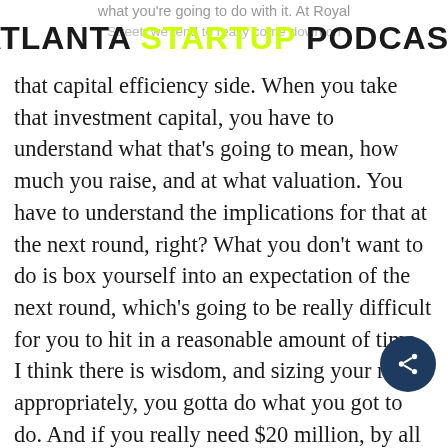ATLANTA STARTUP PODCAST
what you're going to do with it. At Royal Street, we tend to really come down on that capital efficiency side. When you take that investment capital, you have to understand what that's going to mean, how much you raise, and at what valuation. You have to understand the implications for that at the next round, right? What you don't want to do is box yourself into an expectation of the next round, which's going to be really difficult for you to hit in a reasonable amount of time. I think there is wisdom, and sizing your round appropriately, you gotta do what you got to do. And if you really need $20 million, by all means, go raise $20 million, or $30 million or $50 million.